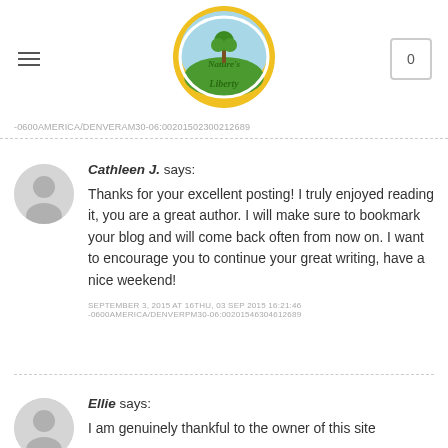[Figure (logo): Nature's Liberty logo — oval with tree, yellow/green border]
-0600AMERICA/DENVERAM30-06:00201502300212689
Cathleen J. says:
Thanks for your excellent posting! I truly enjoyed reading it, you are a great author. I will make sure to bookmark your blog and will come back often from now on. I want to encourage you to continue your great writing, have a nice weekend!
SEPTEMBER 3, 2015 AT 16THU, 03 SEP 2015 16:21:46 -0600AMERICA/DENVERPM30-06:00201546304612689
Ellie says:
I am genuinely thankful to the owner of this site